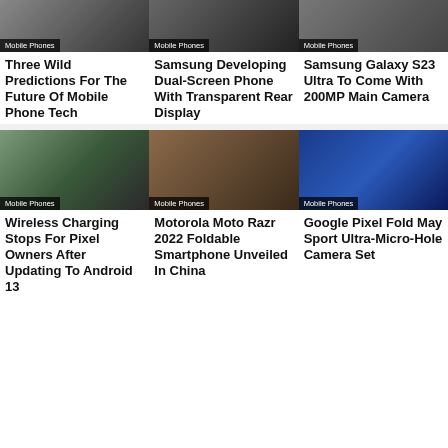[Figure (photo): Mobile phone image top left with Mobile Phones tag]
Three Wild Predictions For The Future Of Mobile Phone Tech
[Figure (photo): Mobile phone image top center with Mobile Phones tag]
Samsung Developing Dual-Screen Phone With Transparent Rear Display
[Figure (photo): Mobile phone image top right with Mobile Phones tag]
Samsung Galaxy S23 Ultra To Come With 200MP Main Camera
[Figure (photo): Google Pixel phones image with Mobile Phones tag]
Wireless Charging Stops For Pixel Owners After Updating To Android 13
[Figure (photo): Motorola Moto Razr 2022 foldable phone image with Mobile Phones tag]
Motorola Moto Razr 2022 Foldable Smartphone Unveiled In China
[Figure (photo): Google Pixel Fold phone image with Mobile Phones tag]
Google Pixel Fold May Sport Ultra-Micro-Hole Camera Set